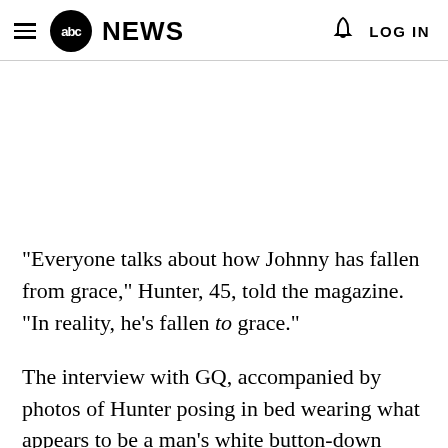abc NEWS  LOG IN
"Everyone talks about how Johnny has fallen from grace," Hunter, 45, told the magazine. "In reality, he's fallen to grace."
The interview with GQ, accompanied by photos of Hunter posing in bed wearing what appears to be a man's white button-down shirt, marks the first time she has spoken in public, a decision she said was always hers and